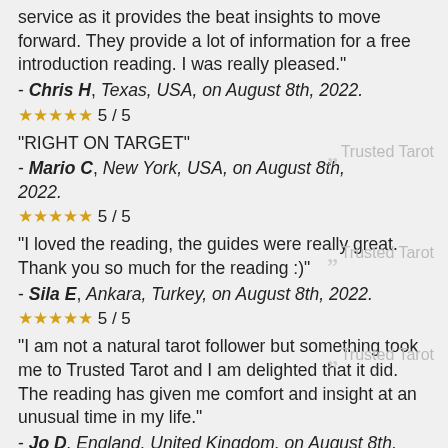service as it provides the beat insights to move forward. They provide a lot of information for a free introduction reading. I was really pleased."
- Chris H, Texas, USA, on August 8th, 2022.
★★★★★ 5 / 5
"RIGHT ON TARGET"
- Mario C, New York, USA, on August 8th, 2022.
★★★★★ 5 / 5
"I loved the reading, the guides were really great. Thank you so much for the reading :)"
- Sila E, Ankara, Turkey, on August 8th, 2022.
★★★★★ 5 / 5
"I am not a natural tarot follower but something took me to Trusted Tarot and I am delighted that it did. The reading has given me comfort and insight at an unusual time in my life."
- Jo D, England, United Kingdom, on August 8th, 2022.